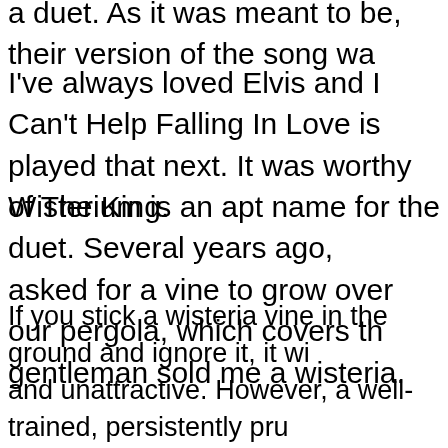a duet. As it was meant to be, their version of the song wa…
I've always loved Elvis and I Can't Help Falling In Love is… played that next. It was worthy of The King.
Wisterium is an apt name for the duet. Several years ago,… asked for a vine to grow over our pergola, which covers th… gentleman sold me a wisteria.
If you stick a wisteria vine in the ground and ignore it, it wi… and unattractive. However, a well-trained, persistently pru… twisting, hearty vine, which blooms spectacularly and cove… canopy: perfect. You have to work and wait years for its be…
Likewise, a child with a musical instrument must be persis… for years, to follow the desired course to beauty. Then, Wi…
A trained, mature wisteria vine, left on its own, maintains i… producing unpredictable, lovely, flowering tangents and of…